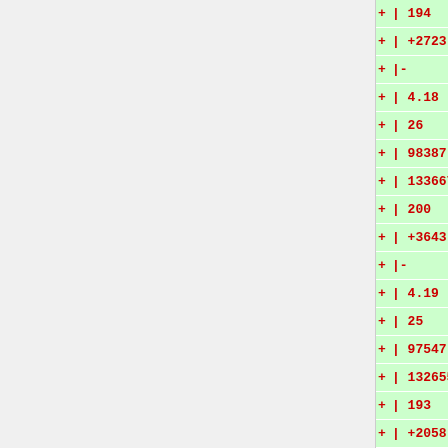+ | 194
+ | +2723 -3024
+ |-
+ | 4.18
+ | 26
+ | 98387
+ | 133667
+ | 200
+ | +3643 -2979
+ |-
+ | 4.19
+ | 25
+ | 97547
+ | 132655
+ | 193
+ | +2058 -3070
+ |-
+ | 4.20
+ | 22